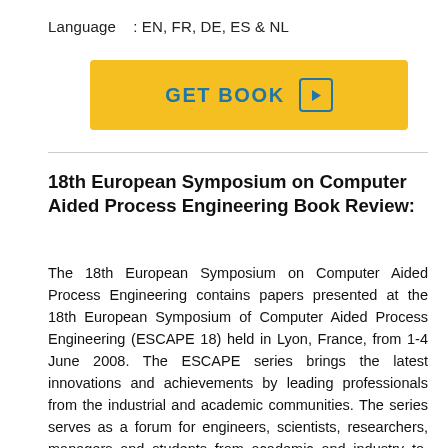Language   : EN, FR, DE, ES & NL
[Figure (other): GET BOOK button with play icon, yellow background]
18th European Symposium on Computer Aided Process Engineering Book Review:
The 18th European Symposium on Computer Aided Process Engineering contains papers presented at the 18th European Symposium of Computer Aided Process Engineering (ESCAPE 18) held in Lyon, France, from 1-4 June 2008. The ESCAPE series brings the latest innovations and achievements by leading professionals from the industrial and academic communities. The series serves as a forum for engineers, scientists, researchers, managers and students from academic and industry to present new